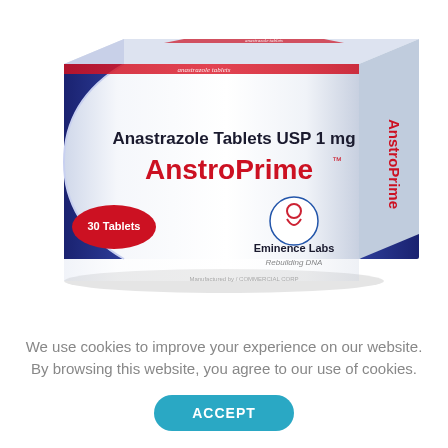[Figure (photo): Photograph of an AnstroPrime (Anastrazole Tablets USP 1 mg) medication box by Eminence Labs. The white box has navy blue side panels and red accent stripe on top. Front face reads 'Anastrazole Tablets USP 1 mg' in dark text and 'AnstroPrime' in large red text with a trademark symbol. A red oval badge in the lower left reads '30 Tablets'. The Eminence Labs logo and 'Rebuilding DNA' tagline appear in the lower right. The right side panel repeats 'AnstroPrime' vertically in red text on a navy background.]
We use cookies to improve your experience on our website. By browsing this website, you agree to our use of cookies.
ACCEPT